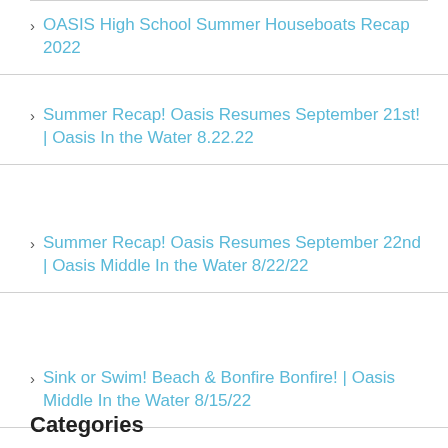OASIS High School Summer Houseboats Recap 2022
Summer Recap! Oasis Resumes September 21st! | Oasis In the Water 8.22.22
Summer Recap! Oasis Resumes September 22nd | Oasis Middle In the Water 8/22/22
Sink or Swim! Beach & Bonfire Bonfire! | Oasis Middle In the Water 8/15/22
Categories